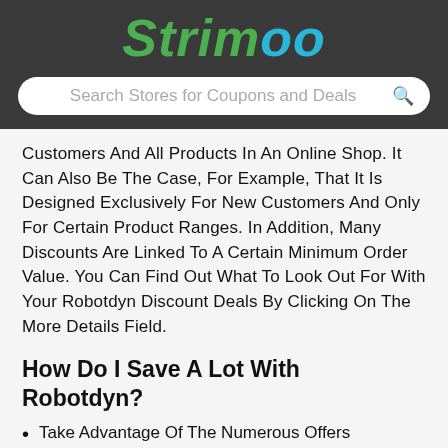Strimoo
Customers And All Products In An Online Shop. It Can Also Be The Case, For Example, That It Is Designed Exclusively For New Customers And Only For Certain Product Ranges. In Addition, Many Discounts Are Linked To A Certain Minimum Order Value. You Can Find Out What To Look Out For With Your Robotdyn Discount Deals By Clicking On The More Details Field.
How Do I Save A Lot With Robotdyn?
Take Advantage Of The Numerous Offers
Robotdyn Is A Real Paradise For Everyone

Who Likes To Save On Shopping. Already On

The Home Page You Will Usually Find Many